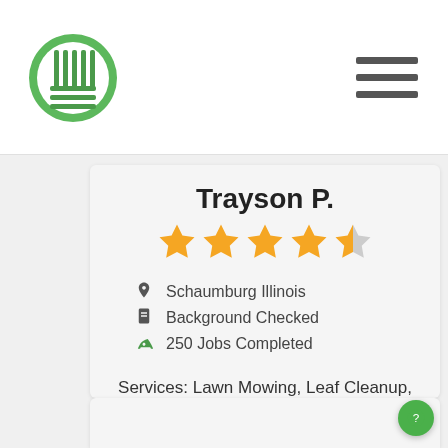[Figure (logo): Green circular lawn care logo with rake/grass motif]
Trayson P.
[Figure (other): 4.5 out of 5 gold star rating]
Schaumburg Illinois
Background Checked
250 Jobs Completed
Services: Lawn Mowing, Leaf Cleanup, Edging & Trimming